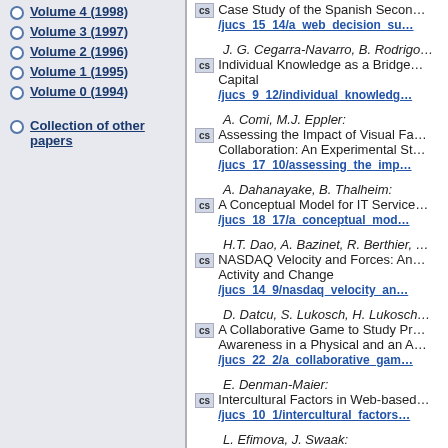Volume 4 (1998)
Volume 3 (1997)
Volume 2 (1996)
Volume 1 (1995)
Volume 0 (1994)
Collection of other papers
Case Study of the Spanish Secon... /jucs_15_14/a_web_decision_su...
J. G. Cegarra-Navarro, B. Rodrigo... Individual Knowledge as a Bridge... Capital /jucs_9_12/individual_knowledg...
A. Comi, M.J. Eppler: Assessing the Impact of Visual Fa... Collaboration: An Experimental St... /jucs_17_10/assessing_the_imp...
A. Dahanayake, B. Thalheim: A Conceptual Model for IT Service... /jucs_18_17/a_conceptual_mod...
H.T. Dao, A. Bazinet, R. Berthier, ... NASDAQ Velocity and Forces: An... Activity and Change /jucs_14_9/nasdaq_velocity_an...
D. Datcu, S. Lukosch, H. Lukosch... A Collaborative Game to Study Pr... Awareness in a Physical and an A... /jucs_22_2/a_collaborative_gam...
E. Denman-Maier: Intercultural Factors in Web-based... /jucs_10_1/intercultural_factors...
L. Efimova, J. Swaak: Converging Knowledge Managem... /jucs_...